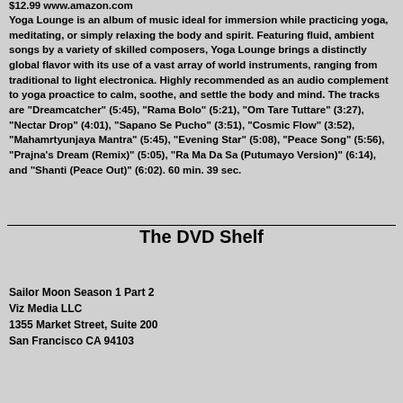$12.99 www.amazon.com
Yoga Lounge is an album of music ideal for immersion while practicing yoga, meditating, or simply relaxing the body and spirit. Featuring fluid, ambient songs by a variety of skilled composers, Yoga Lounge brings a distinctly global flavor with its use of a vast array of world instruments, ranging from traditional to light electronica. Highly recommended as an audio complement to yoga proactice to calm, soothe, and settle the body and mind. The tracks are "Dreamcatcher" (5:45), "Rama Bolo" (5:21), "Om Tare Tuttare" (3:27), "Nectar Drop" (4:01), "Sapano Se Pucho" (3:51), "Cosmic Flow" (3:52), "Mahamrtyunjaya Mantra" (5:45), "Evening Star" (5:08), "Peace Song" (5:56), "Prajna's Dream (Remix)" (5:05), "Ra Ma Da Sa (Putumayo Version)" (6:14), and "Shanti (Peace Out)" (6:02). 60 min. 39 sec.
The DVD Shelf
Sailor Moon Season 1 Part 2
Viz Media LLC
1355 Market Street, Suite 200
San Francisco CA 94103